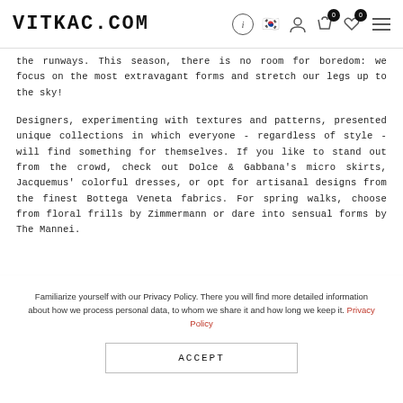VITKAC.COM
the runways. This season, there is no room for boredom: we focus on the most extravagant forms and stretch our legs up to the sky!
Designers, experimenting with textures and patterns, presented unique collections in which everyone - regardless of style - will find something for themselves. If you like to stand out from the crowd, check out Dolce & Gabbana's micro skirts, Jacquemus' colorful dresses, or opt for artisanal designs from the finest Bottega Veneta fabrics. For spring walks, choose from floral frills by Zimmermann or dare into sensual forms by The Mannei.
Familiarize yourself with our Privacy Policy. There you will find more detailed information about how we process personal data, to whom we share it and how long we keep it. Privacy Policy
ACCEPT